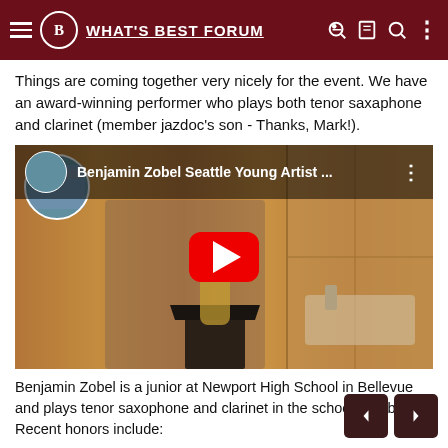What's Best Forum
Things are coming together very nicely for the event. We have an award-winning performer who plays both tenor saxaphone and clarinet (member jazdoc's son - Thanks, Mark!).
[Figure (screenshot): YouTube video thumbnail showing Benjamin Zobel Seattle Young Artist playing saxophone, with YouTube play button overlay]
Benjamin Zobel is a junior at Newport High School in Bellevue and plays tenor saxophone and clarinet in the school jazz band. Recent honors include:
All-State Wind Ensemble 2012